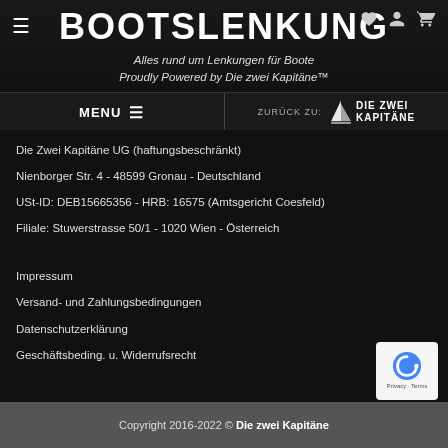BOOTSLENKUNG
Alles rund um Lenkungen für Boote
Proudly Powered by Die zwei Kapitäne™
MENU   ZURÜCK ZU: DIE ZWEI KAPITÄNE
Die Zwei Kapitäne UG (haftungsbeschränkt)
Nienborger Str. 4 - 48599 Gronau - Deutschland
USt-ID: DEB15665356 - HRB: 16575 (Amtsgericht Coesfeld)
Filiale: Stuwerstrasse 50/1 - 1020 Wien - Österreich
Impressum
Versand- und Zahlungsbedingungen
Datenschutzerklärung
Geschäftsbeding. u. Widerrufsrecht
Copyright 2016-2022 © Die zwei Kapitäne